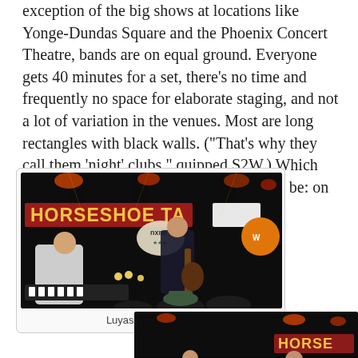exception of the big shows at locations like Yonge-Dundas Square and the Phoenix Concert Theatre, bands are on equal ground. Everyone gets 40 minutes for a set, there's no time and frequently no space for elaborate staging, and not a lot of variation in the venues. Most are long rectangles with black walls. ("That's why they call them 'night' clubs," quipped S2W.) Which puts the spotlight exactly where it should be: on the music.
[Figure (photo): Band performing on stage at the Horseshoe Tavern during NXNE. A musician in a white t-shirt leans over a keyboard on the left, while a female guitarist in a dark top plays on the right. Stage lighting and the Horseshoe Tavern sign are visible.]
Luyas @ The Shoe
[Figure (photo): Another performance at the Horseshoe Tavern. The Horseshoe Tavern sign is visible in the background on the right. A performer is visible on stage.]